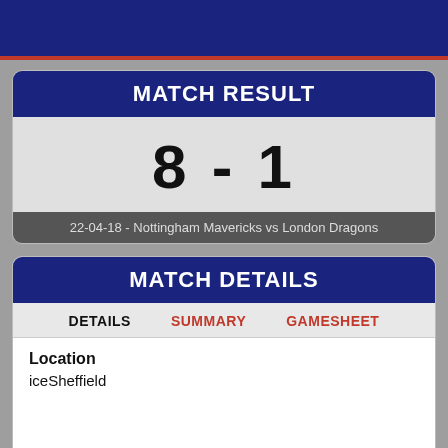MATCH RESULT
8 - 1
22-04-18 - Nottingham Mavericks vs London Dragons
MATCH DETAILS
DETAILS   SUMMARY   GAMESHEET
Location
iceSheffield